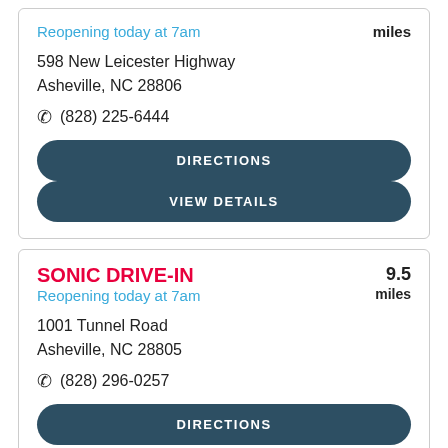Reopening today at 7am
miles
598 New Leicester Highway
Asheville, NC 28806
(828) 225-6444
DIRECTIONS
VIEW DETAILS
SONIC DRIVE-IN
Reopening today at 7am
9.5
miles
1001 Tunnel Road
Asheville, NC 28805
(828) 296-0257
DIRECTIONS